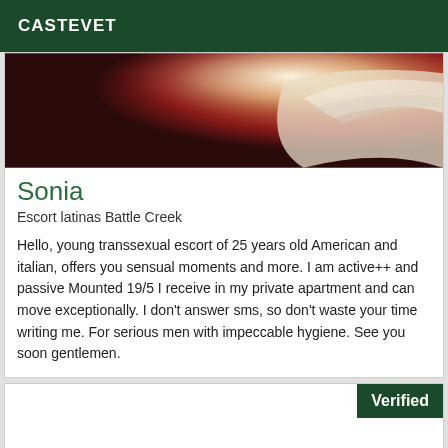CASTEVET
[Figure (photo): A dark red/maroon background with warm light and what appears to be white fabric or bedding in the right portion of the image.]
Sonia
Escort latinas Battle Creek
Hello, young transsexual escort of 25 years old American and italian, offers you sensual moments and more. I am active++ and passive Mounted 19/5 I receive in my private apartment and can move exceptionally. I don't answer sms, so don't waste your time writing me. For serious men with impeccable hygiene. See you soon gentlemen.
Verified